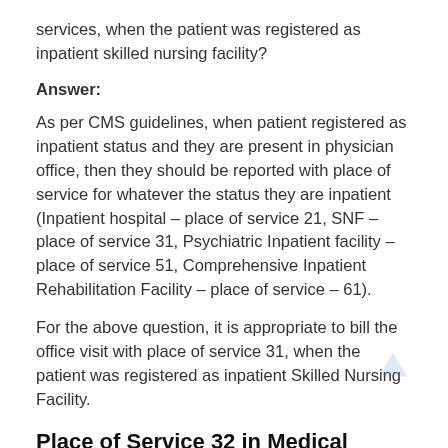services, when the patient was registered as inpatient skilled nursing facility?
Answer:
As per CMS guidelines, when patient registered as inpatient status and they are present in physician office, then they should be reported with place of service for whatever the status they are inpatient (Inpatient hospital – place of service 21, SNF – place of service 31, Psychiatric Inpatient facility – place of service 51, Comprehensive Inpatient Rehabilitation Facility – place of service – 61).
For the above question, it is appropriate to bill the office visit with place of service 31, when the patient was registered as inpatient Skilled Nursing Facility.
Place of Service 32 in Medical